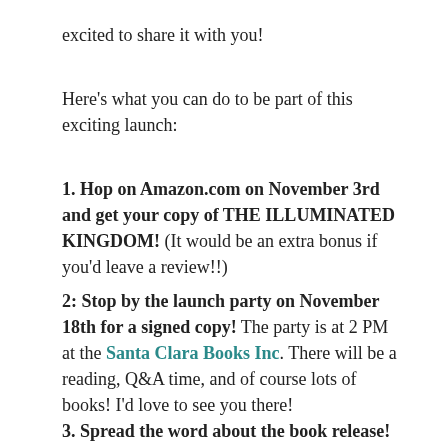excited to share it with you!
Here's what you can do to be part of this exciting launch:
1. Hop on Amazon.com on November 3rd and get your copy of THE ILLUMINATED KINGDOM! (It would be an extra bonus if you'd leave a review!!)
2: Stop by the launch party on November 18th for a signed copy! The party is at 2 PM at the Santa Clara Books Inc. There will be a reading, Q&A time, and of course lots of books! I'd love to see you there!
3. Spread the word about the book release! It takes lots of voices to create a successful book launch. So if you're excited about this book, tweet it out or tell a